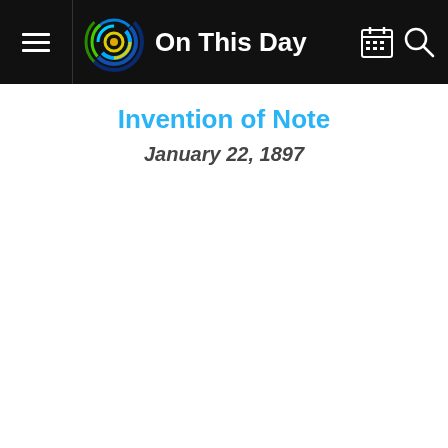On This Day
Invention of Note
January 22, 1897